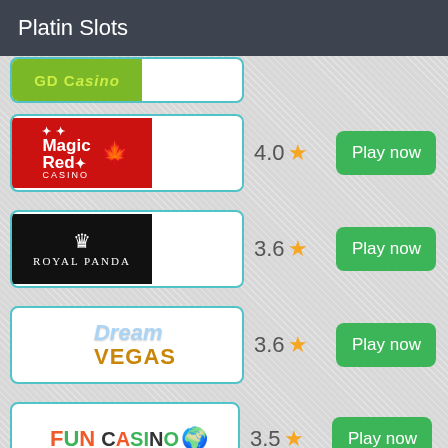Platin Slots
[Figure (logo): Partially visible casino logo at top (green background, partially cut off)]
[Figure (logo): Magic Red Casino logo - red background with white text and maple leaf]
4.0 ★
Play now
[Figure (logo): Royal Panda Casino logo - black background with crown and white serif text]
3.6 ★
Play now
[Figure (logo): Dream Vegas casino logo - blue cursive Dream text and orange VEGAS text]
3.6 ★
Play now
[Figure (logo): Fun Casino logo with colorful text and emoji]
3.5 ★
Play now